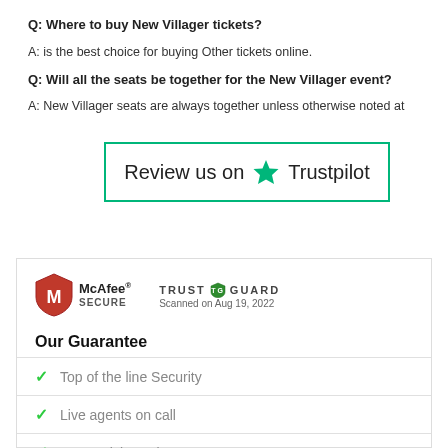Q: Where to buy New Villager tickets?
A: is the best choice for buying Other tickets online.
Q: Will all the seats be together for the New Villager event?
A: New Villager seats are always together unless otherwise noted at
[Figure (other): Review us on Trustpilot button with teal/green star logo and teal border]
[Figure (other): Security logos: McAfee SECURE shield and Trust Guard badge with 'Scanned on Aug 19, 2022']
Our Guarantee
Top of the line Security
Live agents on call
Lower Ticket Prices
Amazing customer service